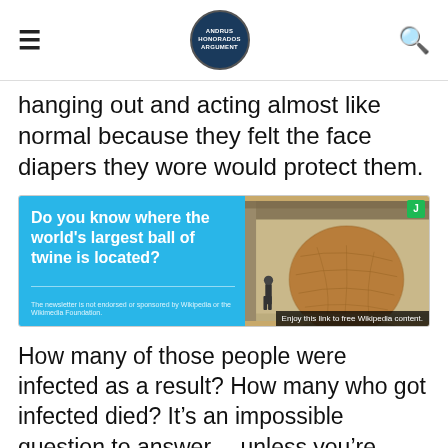ANDRUS HONORADOS ARGUMENT [logo]
hanging out and acting almost like normal because they felt the face diapers they wore would protect them.
[Figure (other): Advertisement banner: left side cyan/blue background with bold white text 'Do you know where the world's largest ball of twine is located?' with a horizontal divider and small footer text 'The newsletter is not endorsed or sponsored by Wikipedia or the Wikimedia Foundation.' Right side shows a photo of a large brown ball of twine with a person standing near it. Green 'J' badge in upper right corner. Bottom bar: 'Enjoy this link to free Wikipedia content.']
How many of those people were infected as a result? How many who got infected died? It’s an impossible question to answer… unless you’re Twitter in which case the nefarious agenda they’ve been charged to promote has overtaken all other considerations, including medical science